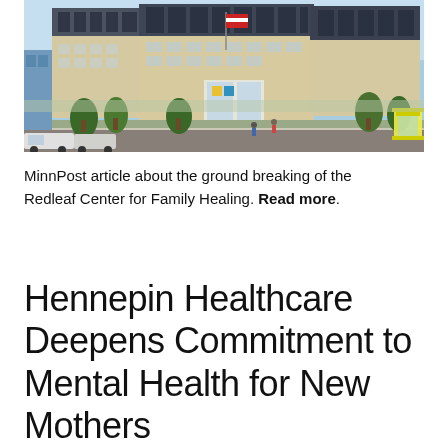[Figure (photo): Architectural rendering of the Redleaf Center for Family Healing building exterior. A large multi-story building with beige/tan facade and dark upper floors is shown. An American flag flies in front. Trees line the sidewalk. Cars and pedestrians are visible in the foreground. A bus stop with yellow canopy is visible on the right.]
MinnPost article about the ground breaking of the Redleaf Center for Family Healing. Read more.
Hennepin Healthcare Deepens Commitment to Mental Health for New Mothers